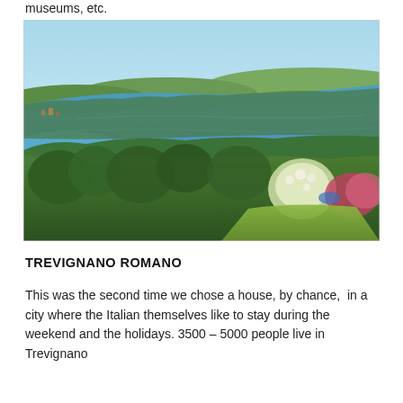museums, etc.
[Figure (photo): Aerial/elevated landscape photo showing a large blue lake surrounded by green hills and trees, with a village visible in the background under a clear blue sky. Lush green vegetation and flowering shrubs in the foreground.]
TREVIGNANO ROMANO
This was the second time we chose a house, by chance,  in a city where the Italian themselves like to stay during the weekend and the holidays. 3500 – 5000 people live in Trevignano